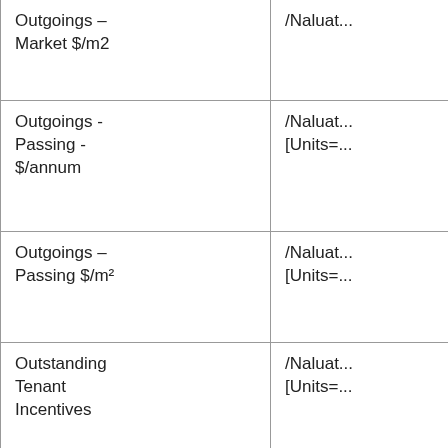| Outgoings – Market $/m2 | /Valuat... |
| Outgoings - Passing - $/annum | /Valuat...
[Units=... |
| Outgoings – Passing $/m² | /Valuat...
[Units=... |
| Outstanding Tenant Incentives | /Valuat...
[Units=... |
| Owner Occupied Flag | /Valuat... |